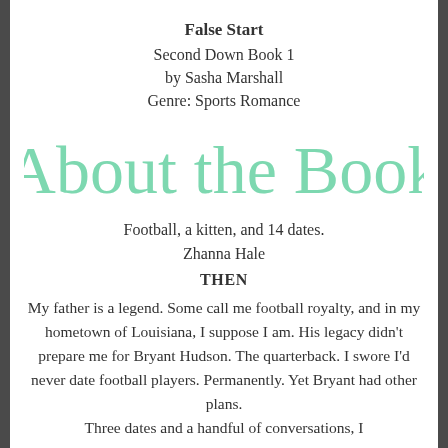False Start
Second Down Book 1
by Sasha Marshall
Genre: Sports Romance
About the Book
Football, a kitten, and 14 dates.
Zhanna Hale
THEN
My father is a legend. Some call me football royalty, and in my hometown of Louisiana, I suppose I am. His legacy didn't prepare me for Bryant Hudson. The quarterback. I swore I'd never date football players. Permanently. Yet Bryant had other plans.
Three dates and a handful of conversations, I